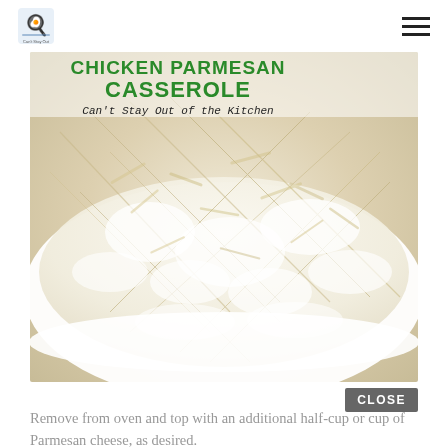Can't Stay Out of the Kitchen [logo] [hamburger menu]
[Figure (photo): Photo of Chicken Parmesan Casserole in a white baking dish, topped with melted mozzarella and shredded Parmesan cheese. Text overlay reads 'CHICKEN PARMESAN CASSEROLE' in green bold font and 'Can't Stay Out of the Kitchen' in cursive below.]
CLOSE
Remove from oven and top with an additional half-cup or cup of Parmesan cheese, as desired.